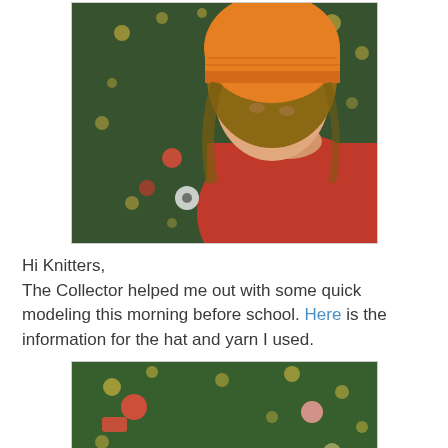[Figure (photo): A girl wearing an orange knit beanie hat, looking down, wearing a red t-shirt, with a decorated Christmas tree in the background.]
Hi Knitters,
The Collector helped me out with some quick modeling this morning before school. Here is the information for the hat and yarn I used.
[Figure (photo): Close-up view of an orange knit beanie hat from the top/back, with a decorated Christmas tree in the background.]